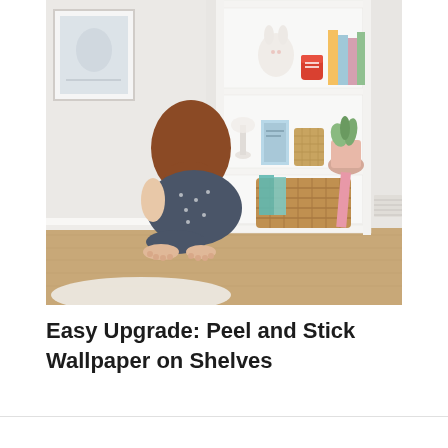[Figure (photo): A young girl with long reddish-brown hair, wearing a dark floral dress, sits cross-legged on a wood floor facing a white built-in bookshelf. The shelves hold toys, a stuffed bunny doll, colorful books, a wicker basket, and small decorative items. A framed artwork is visible on the left wall.]
Easy Upgrade: Peel and Stick Wallpaper on Shelves